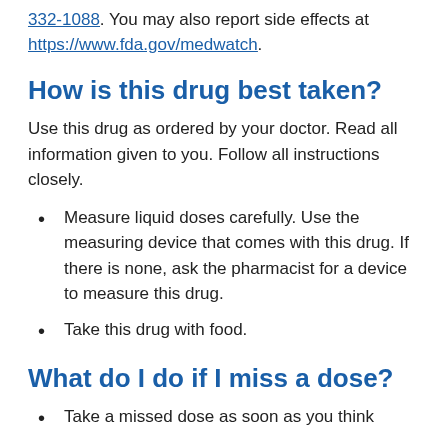332-1088. You may also report side effects at https://www.fda.gov/medwatch.
How is this drug best taken?
Use this drug as ordered by your doctor. Read all information given to you. Follow all instructions closely.
Measure liquid doses carefully. Use the measuring device that comes with this drug. If there is none, ask the pharmacist for a device to measure this drug.
Take this drug with food.
What do I do if I miss a dose?
Take a missed dose as soon as you think